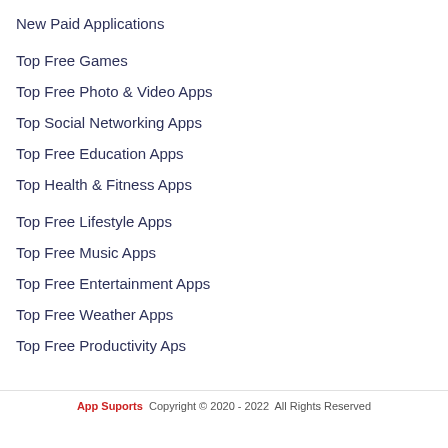New Paid Applications
Top Free Games
Top Free Photo & Video Apps
Top Social Networking Apps
Top Free Education Apps
Top Health & Fitness Apps
Top Free Lifestyle Apps
Top Free Music Apps
Top Free Entertainment Apps
Top Free Weather Apps
Top Free Productivity Aps
App Suports  Copyright © 2020 - 2022  All Rights Reserved